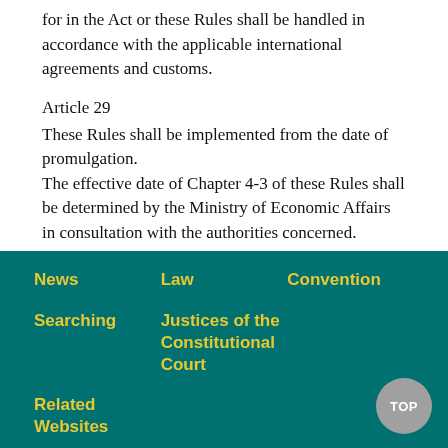for in the Act or these Rules shall be handled in accordance with the applicable international agreements and customs.
Article 29
These Rules shall be implemented from the date of promulgation.
The effective date of Chapter 4-3 of these Rules shall be determined by the Ministry of Economic Affairs in consultation with the authorities concerned.
News  Law  Convention  Searching  Justices of the Constitutional Court  Related Websites  TOP